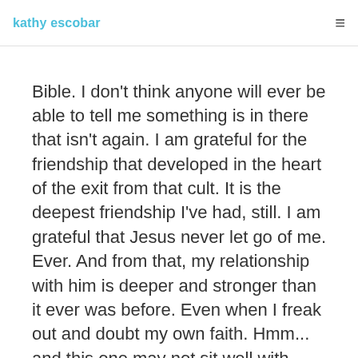kathy escobar
Bible. I don't think anyone will ever be able to tell me something is in there that isn't again. I am grateful for the friendship that developed in the heart of the exit from that cult. It is the deepest friendship I've had, still. I am grateful that Jesus never let go of me. Ever. And from that, my relationship with him is deeper and stronger than it ever was before. Even when I freak out and doubt my own faith. Hmm... and this one may not sit well with some, but I am grateful for the abuse because it has taught me to question EVERYTHING. And that is not a bad thing.